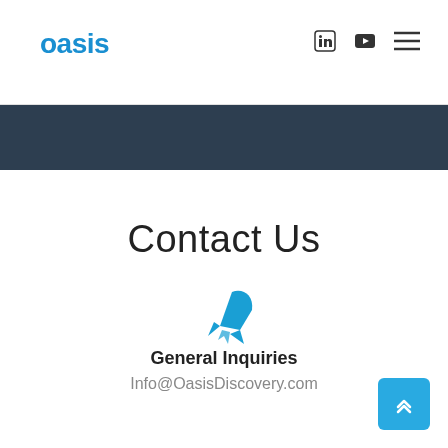oasis
[Figure (illustration): Dark banner/hero image strip at top of page content area]
Contact Us
[Figure (illustration): Blue rocket ship icon pointing upper-right]
General Inquiries
Info@OasisDiscovery.com